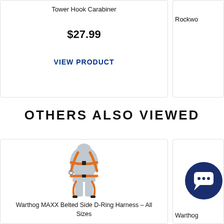Tower Hook Carabiner
$27.99
VIEW PRODUCT
Rockwo
OTHERS ALSO VIEWED
[Figure (photo): Safety harness mannequin wearing Warthog MAXX Belted Side D-Ring Harness with orange straps]
Warthog MAXX Belted Side D-Ring Harness – All Sizes
Warthog